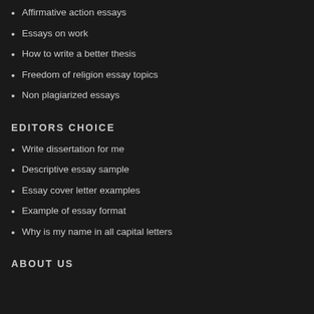Affirmative action essays
Essays on work
How to write a better thesis
Freedom of religion essay topics
Non plagiarized essays
EDITORS CHOICE
Write dissertation for me
Descriptive essay sample
Essay cover letter examples
Example of essay format
Why is my name in all capital letters
ABOUT US